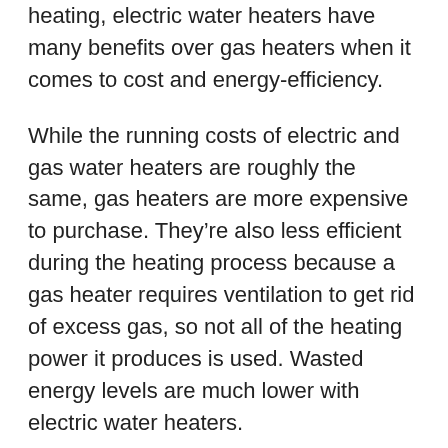heating, electric water heaters have many benefits over gas heaters when it comes to cost and energy-efficiency.
While the running costs of electric and gas water heaters are roughly the same, gas heaters are more expensive to purchase. They're also less efficient during the heating process because a gas heater requires ventilation to get rid of excess gas, so not all of the heating power it produces is used. Wasted energy levels are much lower with electric water heaters.
Unfortunately, despite all the other benefits of electric water heaters over gas heaters, electric models generally take longer to heat